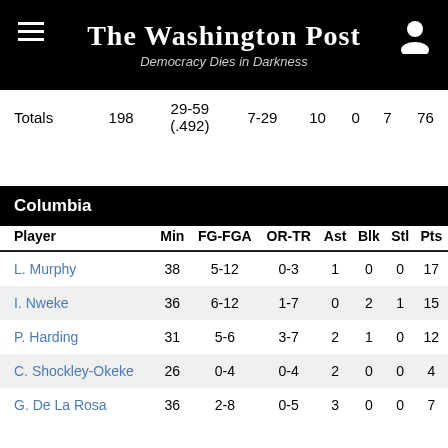The Washington Post — Democracy Dies in Darkness
| Player | Min | FG-FGA | OR-TR | Ast | Blk | Stl | Pts |
| --- | --- | --- | --- | --- | --- | --- | --- |
| Totals | 198 | 29-59 (.492) | 7-29 | 10 | 0 | 7 | 76 |
Columbia
| Player | Min | FG-FGA | OR-TR | Ast | Blk | Stl | Pts |
| --- | --- | --- | --- | --- | --- | --- | --- |
| L. Murphy | 38 | 5-12 | 0-3 | 1 | 0 | 0 | 17 |
| I. Nweke | 36 | 6-12 | 1-7 | 0 | 2 | 1 | 15 |
| P. Harding | 31 | 5-6 | 3-7 | 2 | 1 | 0 | 12 |
| C. Shockley-Okeke | 26 | 0-4 | 0-4 | 2 | 0 | 0 | 4 |
| G. De La Rosa | 36 | 2-8 | 0-5 | 3 | 0 | 0 | 7 |